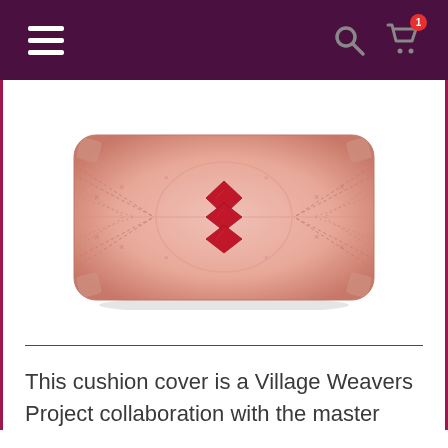Navigation header with hamburger menu, search icon, and cart icon with badge 1
[Figure (photo): A rectangular cushion cover with pink/rose satin fabric featuring a geometric diamond pattern in red and pink tones, with chevron/zigzag texture throughout]
This cushion cover is a Village Weavers Project collaboration with the master